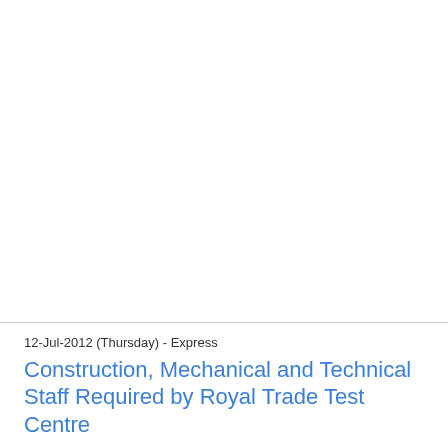12-Jul-2012 (Thursday) - Express
Construction, Mechanical and Technical Staff Required by Royal Trade Test Centre